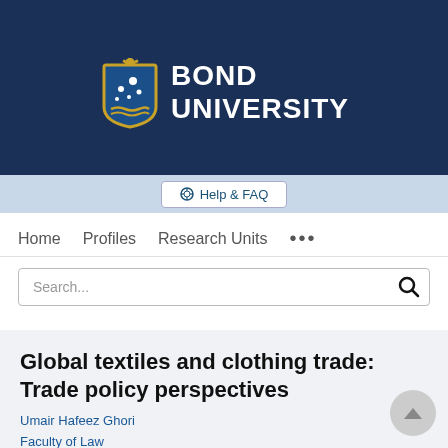[Figure (logo): Bond University logo with shield crest and text BOND UNIVERSITY on dark navy background]
Help & FAQ
Home   Profiles   Research Units   ...
Global textiles and clothing trade: Trade policy perspectives
Umair Hafeez Ghori
Faculty of Law